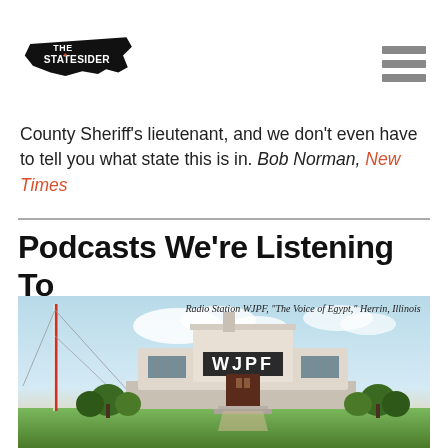The Statesider (logo) + hamburger menu
County Sheriff's lieutenant, and we don't even have to tell you what state this is in. Bob Norman, New Times
Podcasts We're Listening To
[Figure (photo): Vintage postcard illustration of Radio Station WJPF, 'The Voice of Egypt,' Herrin, Illinois. Art deco building with WJPF sign, radio tower on left, trees and sky in background.]